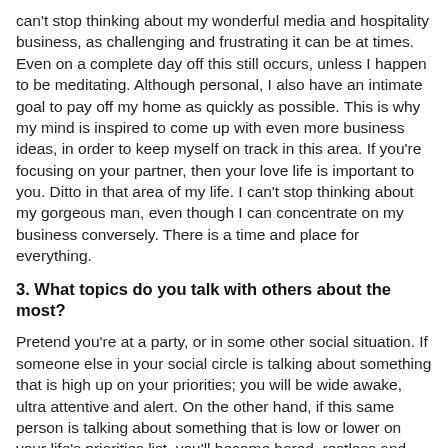can't stop thinking about my wonderful media and hospitality business, as challenging and frustrating it can be at times. Even on a complete day off this still occurs, unless I happen to be meditating. Although personal, I also have an intimate goal to pay off my home as quickly as possible. This is why my mind is inspired to come up with even more business ideas, in order to keep myself on track in this area. If you're focusing on your partner, then your love life is important to you. Ditto in that area of my life. I can't stop thinking about my gorgeous man, even though I can concentrate on my business conversely. There is a time and place for everything.
3. What topics do you talk with others about the most?
Pretend you're at a party, or in some other social situation. If someone else in your social circle is talking about something that is high up on your priorities; you will be wide awake, ultra attentive and alert. On the other hand, if this same person is talking about something that is low or lower on your life's priorities list, you'll become bored, restless and sleepy. Pretend a couple are together at this same party and hear the same conversations on children and then investing. The woman's priority are the kids, while the man loves to invest. The man will be wide awake when a particular conversation is on property investing, while the woman will highly likely yawn